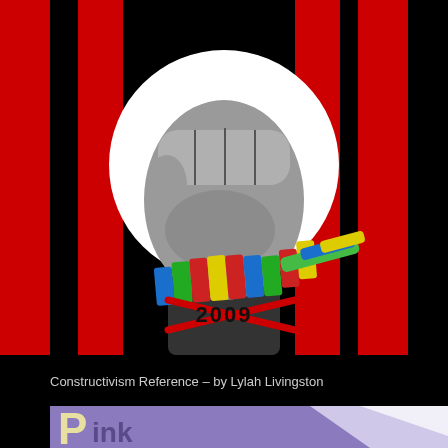[Figure (illustration): Constructivist-style graphic showing a raised fist in gray tones with a colorful striped band (blue, green, red, yellow) wrapped around the wrist, red lines crossing beneath, and '2009' text on the body, set against a black background with vertical red stripes. White circle behind the fist.]
Constructivism Reference – by Lylah Livingston
[Figure (illustration): Partial view of a purple/lavender background image with large letter 'P' in cream/yellow and text 'ink' in darker color, with white triangular geometric shapes on the right side.]